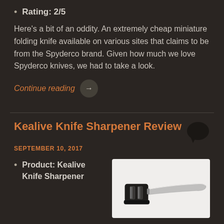Rating: 2/5
Here's a bit of an oddity. An extremely cheap miniature folding knife available on various sites that claims to be from the Spyderco brand. Given how much we love Spyderco knives, we had to take a look.
Continue reading →
Kealive Knife Sharpener Review
SEPTEMBER 10, 2017
Product: Kealive Knife Sharpener
[Figure (photo): Photo of a Kealive Knife Sharpener — a compact black manual knife sharpener with two sharpening slots and a silver handle.]